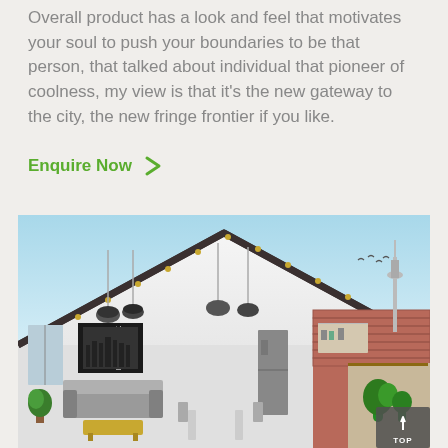Overall product has a look and feel that motivates your soul to push your boundaries to be that person, that talked about individual that pioneer of coolness, my view is that it's the new gateway to the city, the new fringe frontier if you like.
Enquire Now
[Figure (photo): Architectural rendering of a modern loft-style property showing a peaked roof with dark trim, pendant lights, a living area with sofa, a New York cityscape wall art, kitchen/dining area with brick wall, outdoor terrace with plants, and a city skyline with a tower in the background.]